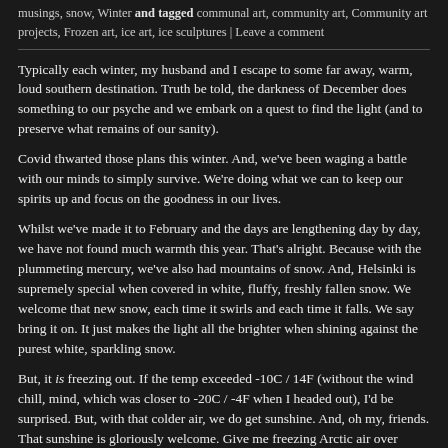musings, snow, Winter and tagged communal art, community art, Community art projects, Frozen art, ice art, ice sculptures | Leave a comment
Typically each winter, my husband and I escape to some far away, warm, loud southern destination. Truth be told, the darkness of December does something to our psyche and we embark on a quest to find the light (and to preserve what remains of our sanity).
Covid thwarted those plans this winter. And, we've been waging a battle with our minds to simply survive. We're doing what we can to keep our spirits up and focus on the goodness in our lives.
Whilst we've made it to February and the days are lengthening day by day, we have not found much warmth this year. That's alright. Because with the plummeting mercury, we've also had mountains of snow. And, Helsinki is supremely special when covered in white, fluffy, freshly fallen snow. We welcome that new snow, each time it swirls and each time it falls. We say bring it on. It just makes the light all the brighter when shining against the purest white, sparkling snow.
But, it is freezing out. If the temp exceeded -10C / 14F (without the wind chill, mind, which was closer to -20C / -4F when I headed out), I'd be surprised. But, with that colder air, we do get sunshine. And, oh my, friends. That sunshine is gloriously welcome. Give me freezing Arctic air over chilly and endless days of